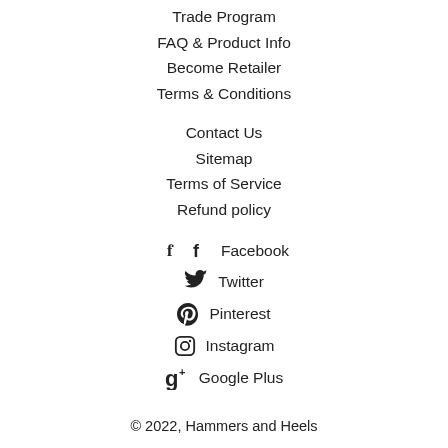Trade Program
FAQ & Product Info
Become Retailer
Terms & Conditions
Contact Us
Sitemap
Terms of Service
Refund policy
Facebook
Twitter
Pinterest
Instagram
Google Plus
© 2022, Hammers and Heels